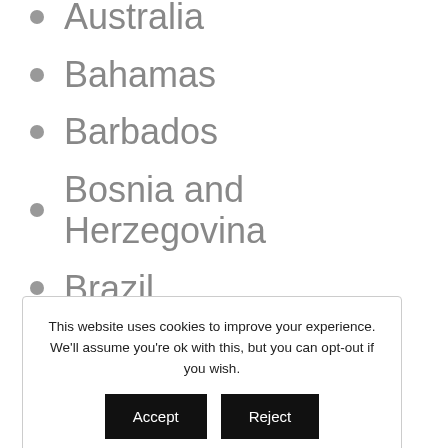Australia
Bahamas
Barbados
Bosnia and Herzegovina
Brazil
Brunei Darussalam
Canada
This website uses cookies to improve your experience. We'll assume you're ok with this, but you can opt-out if you wish. Accept Reject Read More
El Salvador